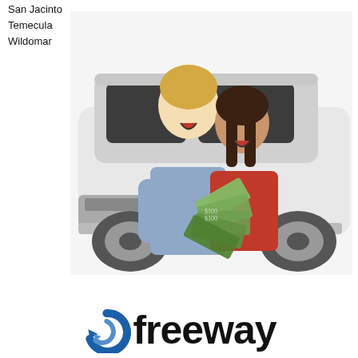San Jacinto
Temecula
Wildomar
[Figure (photo): Happy couple holding fan of cash money bills in front of a white SUV, both laughing and smiling.]
[Figure (logo): Freeway Insurance logo: stylized blue circular arrow icon followed by bold text 'freeway']